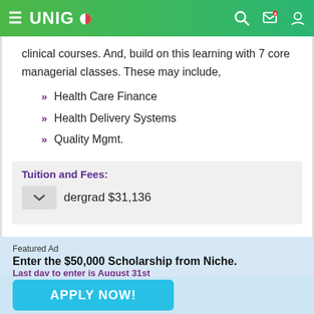UNIGO
clinical courses. And, build on this learning with 7 core managerial classes. These may include,
Health Care Finance
Health Delivery Systems
Quality Mgmt.
Tuition and Fees:
Undergrad $31,136
Featured Ad
Enter the $50,000 Scholarship from Niche.
Last day to enter is August 31st
APPLY NOW!